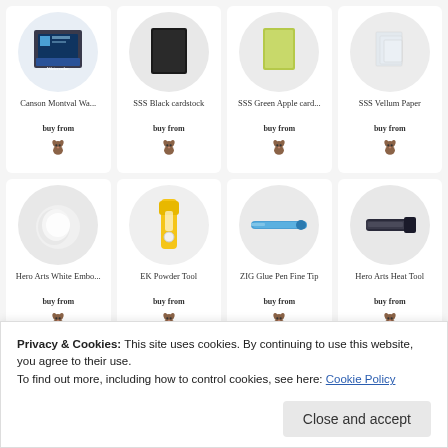[Figure (screenshot): Product grid showing 8 crafting supply items with circular product images, product names, 'buy from' labels, and dog logo icons. Row 1: Canson Montval Wa..., SSS Black cardstock, SSS Green Apple card..., SSS Vellum Paper. Row 2: Hero Arts White Embo..., EK Powder Tool, ZIG Glue Pen Fine Tip, Hero Arts Heat Tool.]
Privacy & Cookies: This site uses cookies. By continuing to use this website, you agree to their use.
To find out more, including how to control cookies, see here: Cookie Policy
Close and accept